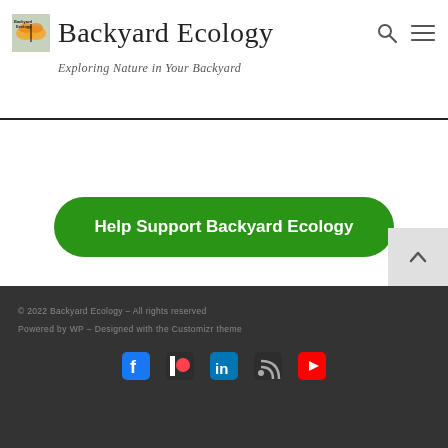Backyard Ecology – Exploring Nature in Your Backyard
Help Support Backyard Ecology
© 2022 Backyard Ecology – All rights reserved
Powered by WP – Designed with the Customizr theme